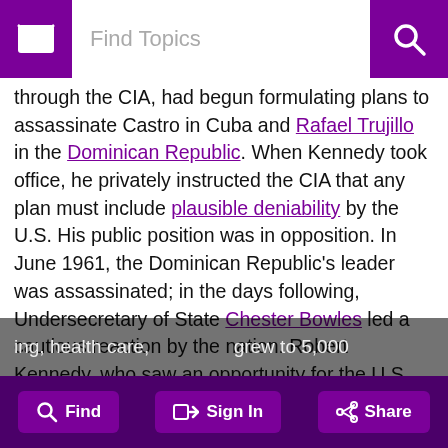Weapons to Cuba — that further Puerto Rico's autonomy Oval Office, October 23, 1962
through the CIA, had begun formulating plans to assassinate Castro in Cuba and Rafael Trujillo in the Dominican Republic. When Kennedy took office, he privately instructed the CIA that any plan must include plausible deniability by the U.S. His public position was in opposition. In June 1961, the Dominican Republic's leader was assassinated; in the days following, Undersecretary of State Chester Bowles led a cautious reaction by the nation. Robert Kennedy, who saw an opportunity for the U.S., called Bowles "a gutless bastard" to his face.
Peace Corps
In one of his first presidential acts, Kennedy asked Congress to create the Peace Corps. His brother-in-law, Sargent Shriver, was its first director. Through this program, Americans volunteered to help developing [countries with farming, health care, ...] grew to 5,000
Find   Sign In   Share